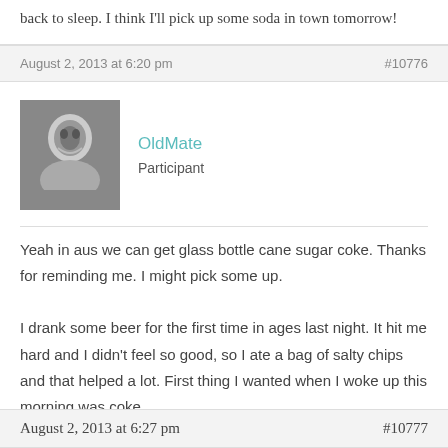back to sleep. I think I'll pick up some soda in town tomorrow!
August 2, 2013 at 6:20 pm    #10776
OldMate
Participant
Yeah in aus we can get glass bottle cane sugar coke. Thanks for reminding me. I might pick some up.

I drank some beer for the first time in ages last night. It hit me hard and I didn't feel so good, so I ate a bag of salty chips and that helped a lot. First thing I wanted when I woke up this morning was coke.
August 2, 2013 at 6:27 pm    #10777